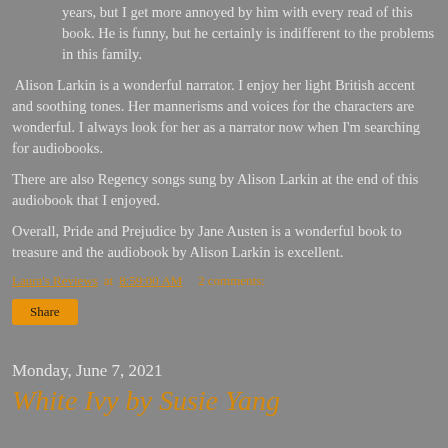years, but I get more annoyed by him with every read of this book.  He is funny, but he certainly is indifferent to the problems in this family.
Alison Larkin is a wonderful narrator.  I enjoy her light British accent and soothing tones.  Her mannerisms and voices for the characters are wonderful.  I always look for her as a narrator now when I'm searching for audiobooks.
There are also Regency songs sung by Alison Larkin at the end of this audiobook that I enjoyed.
Overall, Pride and Prejudice by Jane Austen is a wonderful book to treasure and the audiobook by Alison Larkin is excellent.
Laura's Reviews at 8:59:00 AM    2 comments:
Share
Monday, June 7, 2021
White Ivy by Susie Yang